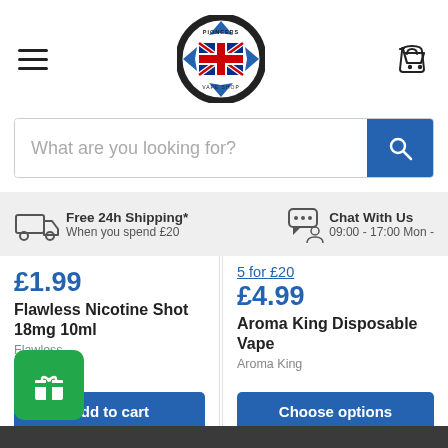Pioneers Vape Shop — navigation header with logo, hamburger menu, and cart icon
What are you looking for? [search bar]
Free 24h Shipping* When you spend £20 | Chat With Us 09:00 - 17:00 Mon -
£1.99
Flawless Nicotine Shot 18mg 10ml
Flawless
[Add to cart button]
5 for £20
£4.99
Aroma King Disposable Vape
Aroma King
[Choose options button]
[Figure (other): Green gift/loyalty button in bottom left corner]
Dark footer bar